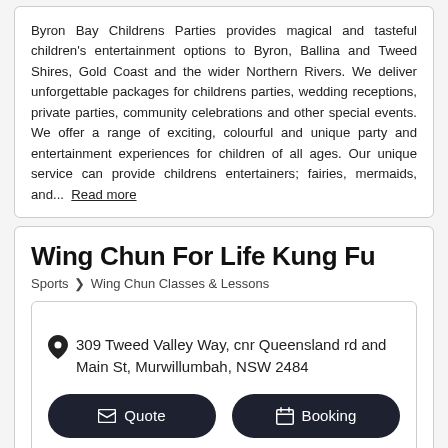Byron Bay Childrens Parties provides magical and tasteful children's entertainment options to Byron, Ballina and Tweed Shires, Gold Coast and the wider Northern Rivers. We deliver unforgettable packages for childrens parties, wedding receptions, private parties, community celebrations and other special events. We offer a range of exciting, colourful and unique party and entertainment experiences for children of all ages. Our unique service can provide childrens entertainers; fairies, mermaids, and... Read more
Wing Chun For Life Kung Fu
Sports > Wing Chun Classes & Lessons
309 Tweed Valley Way, cnr Queensland rd and Main St, Murwillumbah, NSW 2484
Quote
Booking
Contact me
Email
www